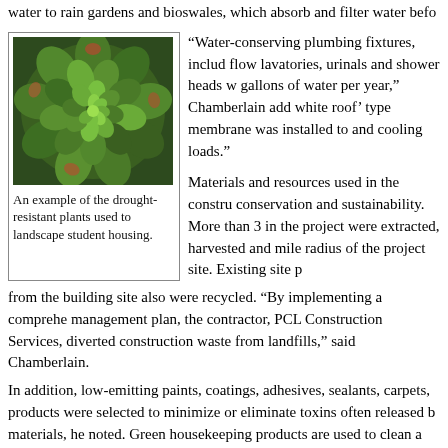water to rain gardens and bioswales, which absorb and filter water befo
[Figure (photo): Close-up photo of a green succulent plant with spiral leaves, drought-resistant plant used to landscape student housing.]
An example of the drought-resistant plants used to landscape student housing.
“Water-conserving plumbing fixtures, includ flow lavatories, urinals and shower heads w gallons of water per year,” Chamberlain add white roof’ type membrane was installed to and cooling loads.”
Materials and resources used in the constru conservation and sustainability. More than 3 in the project were extracted, harvested and mile radius of the project site. Existing site p from the building site also were recycled. “By implementing a comprehe management plan, the contractor, PCL Construction Services, diverted construction waste from landfills,” said Chamberlain.
In addition, low-emitting paints, coatings, adhesives, sealants, carpets, products were selected to minimize or eliminate toxins often released b materials, he noted. Green housekeeping products are used to clean a appliances installed in the structures were selected for their EPA Energ
“More than 77 percent of the regularly occupied spaces have natural lig used to light a room during the day, and more than 96 percent of the oc